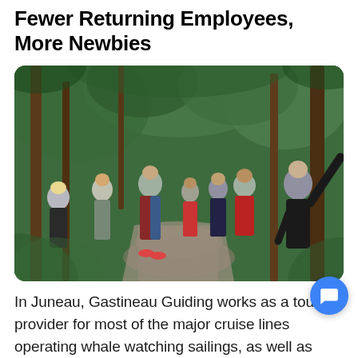Fewer Returning Employees, More Newbies
[Figure (photo): Group of tourists on a forested trail in Juneau, Alaska. A guide in black clothing points upward toward the tree canopy while several visitors look on. The path is surrounded by dense green forest and tall conifer trees.]
In Juneau, Gastineau Guiding works as a tour provider for most of the major cruise lines operating whale watching sailings, as well as hikes to Mendenhall Glacier.